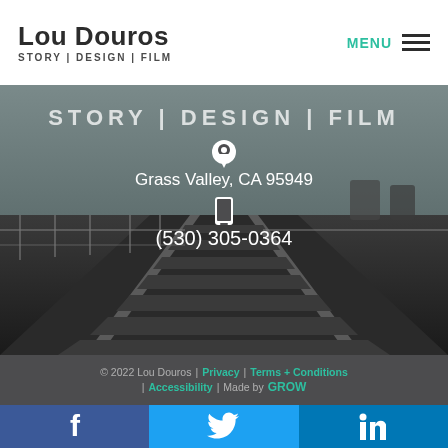Lou Douros
STORY | DESIGN | FILM
[Figure (screenshot): Website header area showing 'STORY | DESIGN | FILM' text overlaid on a black and white photograph of railroad tracks receding into the horizon, with a location pin icon and contact information overlaid]
Grass Valley, CA 95949
(530) 305-0364
© 2022 Lou Douros | Privacy | Terms + Conditions | Accessibility | Made by GROW
[Figure (infographic): Social media icons: Facebook, Instagram, LinkedIn shown above share bar]
[Figure (infographic): Bottom share bar with Facebook (blue), Twitter (light blue), LinkedIn (dark blue) social sharing buttons with white icons]